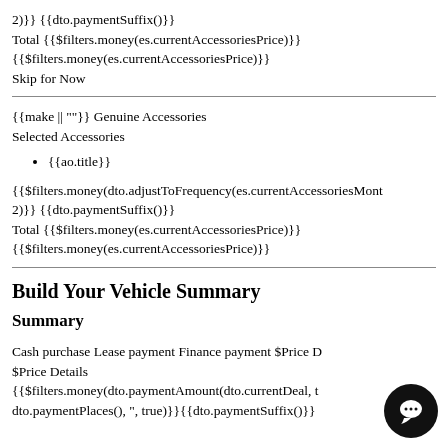2)}} {{dto.paymentSuffix()}}
Total {{$filters.money(es.currentAccessoriesPrice)}}
{{$filters.money(es.currentAccessoriesPrice)}}
Skip for Now
{{make || ""}} Genuine Accessories
Selected Accessories
{{ao.title}}
{{$filters.money(dto.adjustToFrequency(es.currentAccessoriesMont
2)}} {{dto.paymentSuffix()}}
Total {{$filters.money(es.currentAccessoriesPrice)}}
{{$filters.money(es.currentAccessoriesPrice)}}
Build Your Vehicle Summary
Summary
Cash purchase Lease payment Finance payment $Price D
$Price Details
{{$filters.money(dto.paymentAmount(dto.currentDeal, t
dto.paymentPlaces(), ", true)}}{{dto.paymentSuffix()}}